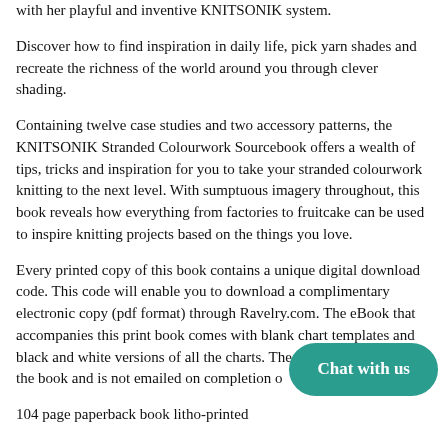with her playful and inventive KNITSONIK system.
Discover how to find inspiration in daily life, pick yarn shades and recreate the richness of the world around you through clever shading.
Containing twelve case studies and two accessory patterns, the KNITSONIK Stranded Colourwork Sourcebook offers a wealth of tips, tricks and inspiration for you to take your stranded colourwork knitting to the next level. With sumptuous imagery throughout, this book reveals how everything from factories to fruitcake can be used to inspire knitting projects based on the things you love.
Every printed copy of this book contains a unique digital download code. This code will enable you to download a complimentary electronic copy (pdf format) through Ravelry.com. The eBook that accompanies this print book comes with blank chart templates and black and white versions of all the charts. The code is stuck inside the book and is not emailed on completion o...
104 page paperback book litho-printed